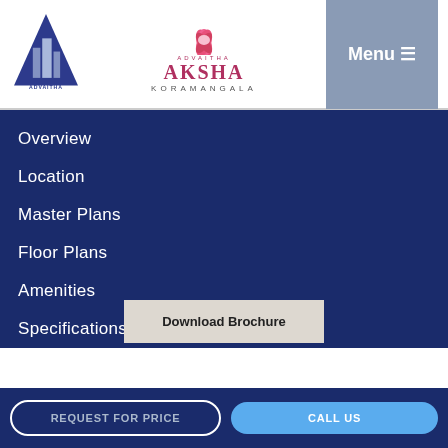[Figure (logo): Advaitha Realty triangle logo with building silhouette and text 'ADVAITHA dreams to realty']
[Figure (logo): Aksha Koramangala lotus flower logo with text 'ADVAITHA AKSHA KORAMANGALA']
[Figure (other): Menu button with hamburger icon on grey background]
Overview
Location
Master Plans
Floor Plans
Amenities
Specifications
Construction Status
Walkthrough
Download Brochure
REQUEST FOR PRICE
CALL US